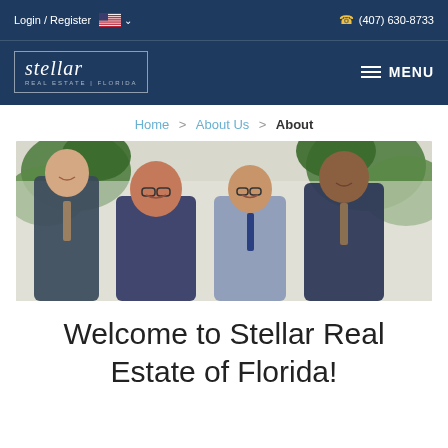Login / Register   (407) 630-8733
[Figure (logo): Stellar Real Estate Florida logo — white italic serif text inside a square border outline, with small text 'REAL ESTATE | FLORIDA' below]
MENU
Home > About Us > About
[Figure (photo): Team photo of four real estate professionals — three men and one woman — wearing business attire, standing in front of tropical foliage and a white wall]
Welcome to Stellar Real Estate of Florida!